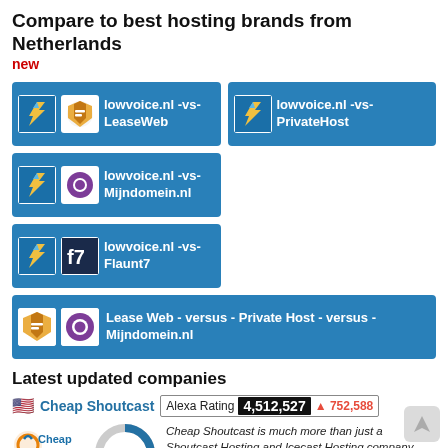Compare to best hosting brands from Netherlands
new
[Figure (infographic): Card: lowvoice.nl -vs- LeaseWeb with bird and leaseweb logos on blue background]
[Figure (infographic): Card: lowvoice.nl -vs- PrivateHost with bird logo on blue background]
[Figure (infographic): Card: lowvoice.nl -vs- Mijndomein.nl with bird and purple circle logos on blue background]
[Figure (infographic): Card: lowvoice.nl -vs- Flaunt7 with bird and F7 logos on blue background]
[Figure (infographic): Card: Lease Web - versus - Private Host - versus - Mijndomein.nl wide card with two logos on blue background]
Latest updated companies
Cheap Shoutcast  Alexa Rating  4,512,527  ▲752,588
[Figure (donut-chart): Donut chart showing 86% in blue/grey]
Cheap Shoutcast is much more than just a Shoutcast Hosting and Icecast Hosting company. Our network of